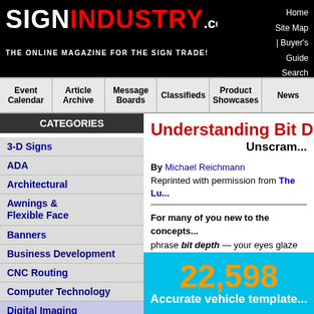SIGNINDUSTRY.COM — THE ONLINE MAGAZINE FOR THE SIGN TRADE!
Home | Site Map | Buyer's Guide | Search
Event Calendar | Article Archive | Message Boards | Classifieds | Product Showcases | News
CATEGORIES
3-D Signs
ADA
Architectural
Awnings & Flexible Face
Banners
Business Development
CNC Routing
Computer Technology
Digital Imaging
Articles
Product Showcase
Message Board
Tips & Tricks
Dynamic Digital
Electric
Understanding Bit Depth
Unscrambling...
By Michael Reichmann
Reprinted with permission from The Lu...
For many of you new to the concepts... phrase bit depth — your eyes glaze o... quality, and that more bits are somel... simple but often-misunderstood topi...
[Figure (infographic): Blue box with orange number 22,598 and white text 'Accurate vehicle template']